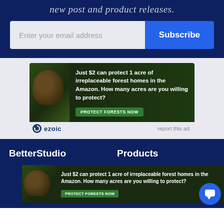new post and product releases.
Enter your email address
Subscribe
[Figure (infographic): Amazon forest conservation advertisement showing a sloth among foliage with text: Just $2 can protect 1 acre of irreplaceable forest homes in the Amazon. How many acres are you willing to protect? PROTECT FORESTS NOW button]
ezoic
report this ad
BetterStudio
Products
[Figure (infographic): Amazon forest conservation advertisement showing a sloth among foliage with text: Just $2 can protect 1 acre of irreplaceable forest homes in the Amazon. How many acres are you willing to protect? PROTECT FORESTS NOW button]